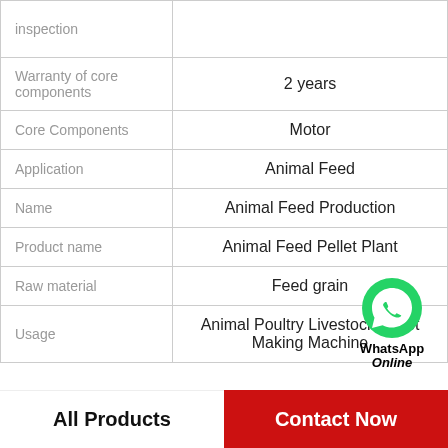| Property | Value |
| --- | --- |
| inspection |  |
| Warranty of core components | 2 years |
| Core Components | Motor |
| Application | Animal Feed |
| Name | Animal Feed Production |
| Product name | Animal Feed Pellet Plant |
| Raw material | Feed grain |
| Usage | Animal Poultry Livestock Pellet Making Machine |
WhatsApp Online
All Products   Contact Now